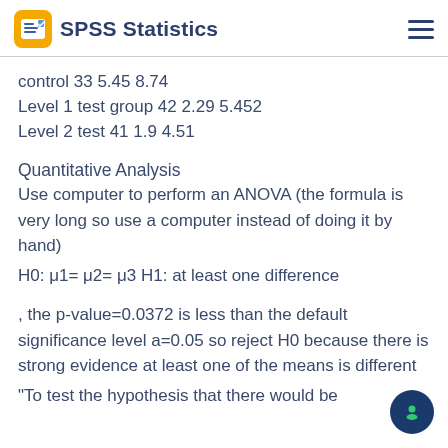SPSS Statistics
control 33 5.45 8.74
Level 1 test group 42 2.29 5.452
Level 2 test 41 1.9 4.51
Quantitative Analysis
Use computer to perform an ANOVA (the formula is very long so use a computer instead of doing it by hand)
H0: μ1= μ2= μ3 H1: at least one difference
, the p-value=0.0372 is less than the default significance level a=0.05 so reject H0 because there is strong evidence at least one of the means is different
"To test the hypothesis that there would be